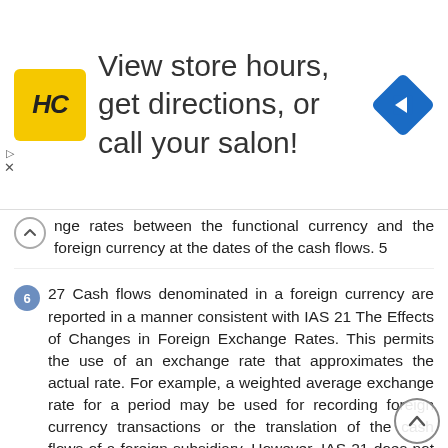[Figure (other): Advertisement banner for a hair care salon (HC logo) with text 'View store hours, get directions, or call your salon!' and a navigation icon on the right.]
nge rates between the functional currency and the foreign currency at the dates of the cash flows. 5
27 Cash flows denominated in a foreign currency are reported in a manner consistent with IAS 21 The Effects of Changes in Foreign Exchange Rates. This permits the use of an exchange rate that approximates the actual rate. For example, a weighted average exchange rate for a period may be used for recording foreign currency transactions or the translation of the cash flows of a foreign subsidiary. However, IAS 21 does not permit use of the exchange rate at the end of the reporting period when translating the cash flows of a foreign subsidiary. 28 Unrealised gains and losses arising from changes in foreign currency exchange rates are not cash flows. However, the effect of exchange rate changes on cash and cash equivalents held or due in a foreign currency is reported in the statement of cash flows in order to reconcile cash and cash equivalents